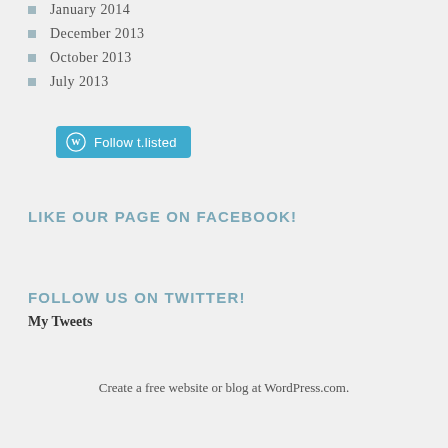January 2014
December 2013
October 2013
July 2013
[Figure (other): Follow t.listed button with WordPress logo]
LIKE OUR PAGE ON FACEBOOK!
FOLLOW US ON TWITTER!
My Tweets
Create a free website or blog at WordPress.com.